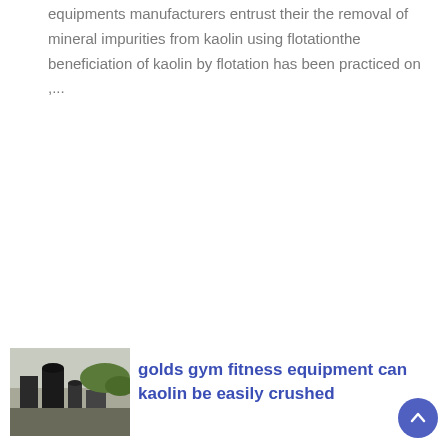equipments manufacturers entrust their the removal of mineral impurities from kaolin using flotationthe beneficiation of kaolin by flotation has been practiced on ,...
[Figure (photo): Thumbnail image of industrial mining or milling equipment]
golds gym fitness equipment can kaolin be easily crushed
milling equipment used in recycled crushed aggregate screens in iron ore industry equipment at a kaolin mine equipment in the manufacture of kaolin clay laboratory equipment to use to test kaolin flint iron ore animal feed grindi... layout wet screening equipment for